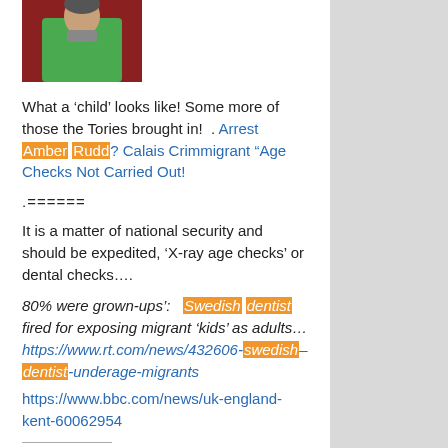[Figure (photo): Photo of a person wearing a green hoodie/jacket, partially cropped]
What a ‘child’ looks like! Some more of those the Tories brought in!  . Arrest Amber Rudd? Calais Crimmigrant “Age Checks Not Carried Out!
.======
It is a matter of national security and should be expedited, ‘X-ray age checks’ or dental checks….
80% were grown-ups’:  Swedish dentist fired for exposing migrant ‘kids’ as adults… https://www.rt.com/news/432606-swedish–dentist-underage-migrants
https://www.bbc.com/news/uk-england-kent-60062954
Share this: